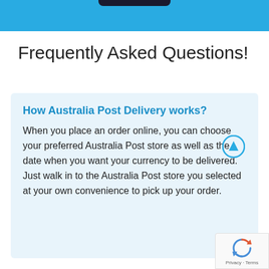Frequently Asked Questions!
How Australia Post Delivery works?
When you place an order online, you can choose your preferred Australia Post store as well as the date when you want your currency to be delivered. Just walk in to the Australia Post store you selected at your own convenience to pick up your order.